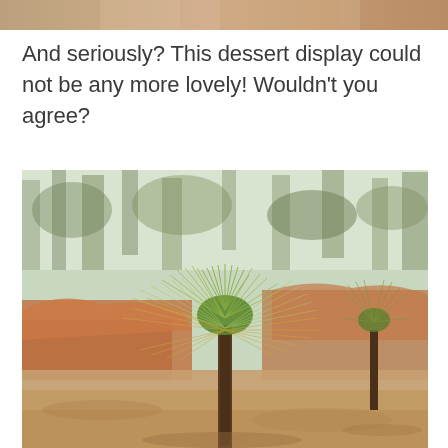[Figure (photo): Partial top-edge photo showing a warm-toned dessert display, cropped at top of page]
And seriously? This dessert display could not be any more lovely! Wouldn't you agree?
[Figure (photo): Photograph of a young longleaf pine sapling with spiky green needles radiating outward, growing on red clay soil with trees in the background]